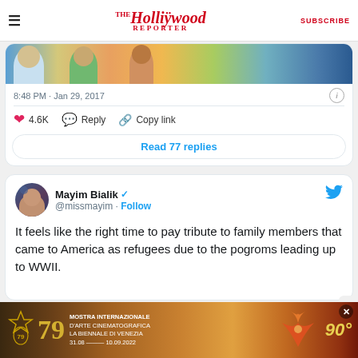The Hollywood Reporter | SUBSCRIBE
[Figure (screenshot): Partial tweet card showing an image strip with colorful illustrated faces, timestamp 8:48 PM · Jan 29, 2017, like count 4.6K, Reply, Copy link actions, and Read 77 replies button]
[Figure (screenshot): Tweet by Mayim Bialik (@missmayim) with verified badge and Follow link. Tweet text: It feels like the right time to pay tribute to family members that came to America as refugees due to the pogroms leading up to WWII.]
[Figure (infographic): Advertisement banner for Mostra Internazionale D'Arte Cinematografica La Biennale di Venezia, 31.08–10.09.2022, with 79th edition logo, lion logo, and phoenix illustration, 90 degrees text]